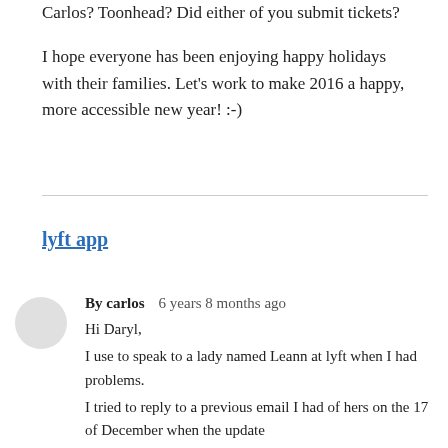Carlos? Toonhead? Did either of you submit tickets?
I hope everyone has been enjoying happy holidays with their families. Let's work to make 2016 a happy, more accessible new year! :-)
lyft app
By carlos   6 years 8 months ago
Hi Daryl,
I use to speak to a lady named Leann at lyft when I had problems.
I tried to reply to a previous email I had of hers on the 17 of December when the update